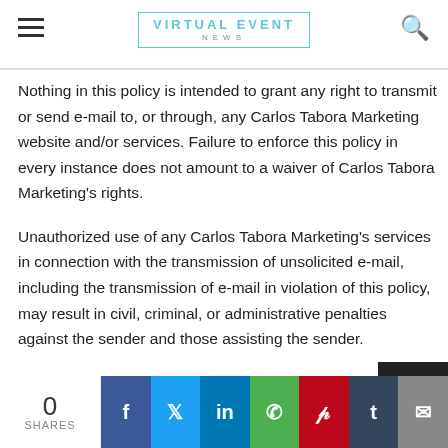VIRTUAL EVENT NEWS
Nothing in this policy is intended to grant any right to transmit or send e-mail to, or through, any Carlos Tabora Marketing website and/or services. Failure to enforce this policy in every instance does not amount to a waiver of Carlos Tabora Marketing's rights.
Unauthorized use of any Carlos Tabora Marketing's services in connection with the transmission of unsolicited e-mail, including the transmission of e-mail in violation of this policy, may result in civil, criminal, or administrative penalties against the sender and those assisting the sender.
0 SHARES — social share bar: Facebook, Twitter, LinkedIn, WhatsApp, Pinterest, Tumblr, Email